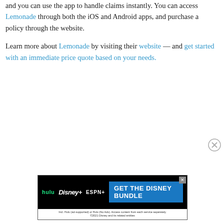and you can use the app to handle claims instantly. You can access Lemonade through both the iOS and Android apps, and purchase a policy through the website.
Learn more about Lemonade by visiting their website — and get started with an immediate price quote based on your needs.
[Figure (other): Close/dismiss button (circle with X) for an advertisement]
[Figure (other): Advertisement banner for Disney Bundle featuring Hulu, Disney+, and ESPN+ logos with 'GET THE DISNEY BUNDLE' call to action and fine print: 'Incl. Hulu (ad-supported) or Hulu (No Ads). Access content from each service separately. ©2021 Disney and its related entities']